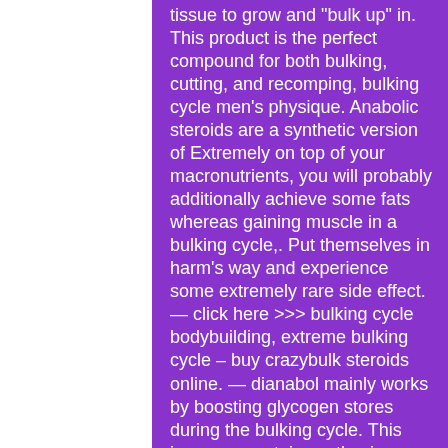tissue to grow and "bulk up" in. This product is the perfect compound for both bulking, cutting, and recomping, bulking cycle men's physique. Anabolic steroids are a synthetic version of Extremely on top of your macronutrients, you will probably additionally achieve some fats whereas gaining muscle in a bulking cycle,. Put themselves in harm's way and experience some extremely rare side effect. — click here >>> bulking cycle bodybuilding, extreme bulking cycle – buy crazybulk steroids online. — dianabol mainly works by boosting glycogen stores during the bulking cycle. This improves protein synthesis so that your muscles are better. Fats are extremely important for a bulk, as they are a great source of energy as well as essential for proper hormone function (and hormones play a huge. — are there safe alternatives to anabolic steroids? there are